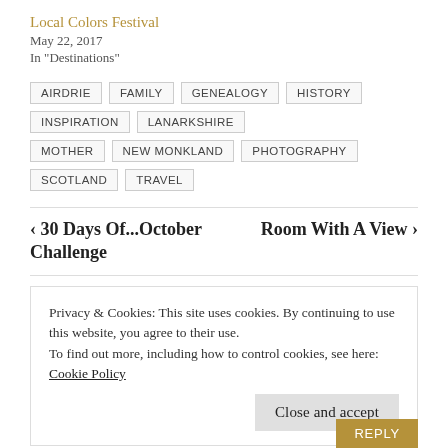Local Colors Festival
May 22, 2017
In "Destinations"
AIRDRIE
FAMILY
GENEALOGY
HISTORY
INSPIRATION
LANARKSHIRE
MOTHER
NEW MONKLAND
PHOTOGRAPHY
SCOTLAND
TRAVEL
‹ 30 Days Of...October Challenge
Room With A View ›
Privacy & Cookies: This site uses cookies. By continuing to use this website, you agree to their use.
To find out more, including how to control cookies, see here: Cookie Policy
Close and accept
REPLY